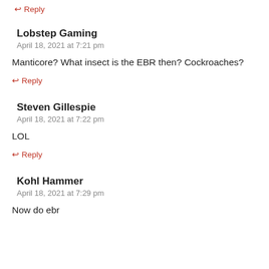↩ Reply
Lobstep Gaming
April 18, 2021 at 7:21 pm
Manticore? What insect is the EBR then? Cockroaches?
↩ Reply
Steven Gillespie
April 18, 2021 at 7:22 pm
LOL
↩ Reply
Kohl Hammer
April 18, 2021 at 7:29 pm
Now do ebr